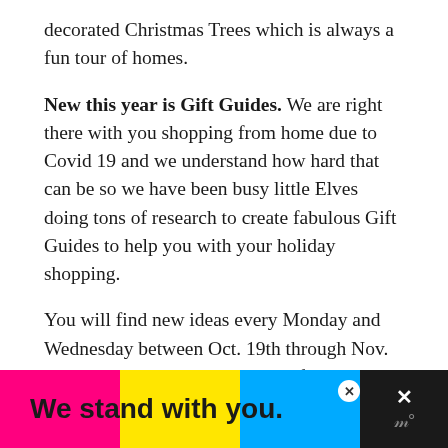decorated Christmas Trees which is always a fun tour of homes.
New this year is Gift Guides. We are right there with you shopping from home due to Covid 19 and we understand how hard that can be so we have been busy little Elves doing tons of research to create fabulous Gift Guides to help you with your holiday shopping.
You will find new ideas every Monday and Wednesday between Oct. 19th through Nov. 18th. Scroll all the way down to find all the ideas
[Figure (infographic): Advertisement banner with pink, yellow, and blue color blocks reading 'We stand with you.' in bold black text, with close buttons and a dark right panel.]